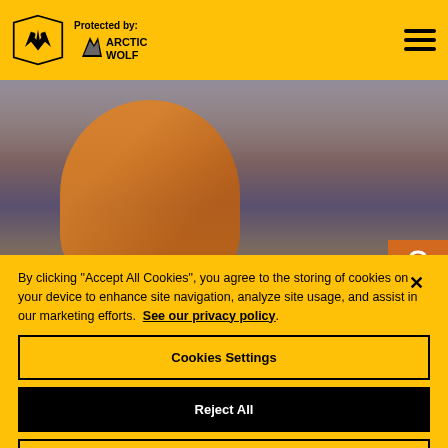Protected by: ARCTIC WOLF
[Figure (photo): Wolverhampton Wanderers footballer in orange jersey in action on the pitch with crowd in background]
By clicking "Accept All Cookies", you agree to the storing of cookies on your device to enhance site navigation, analyze site usage, and assist in our marketing efforts. See our privacy policy.
Cookies Settings
Reject All
Accept All Cookies